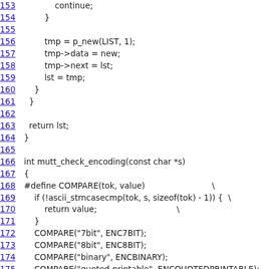Source code listing, lines 153–177, showing C code for list building and mutt_check_encoding function with COMPARE macro definitions.